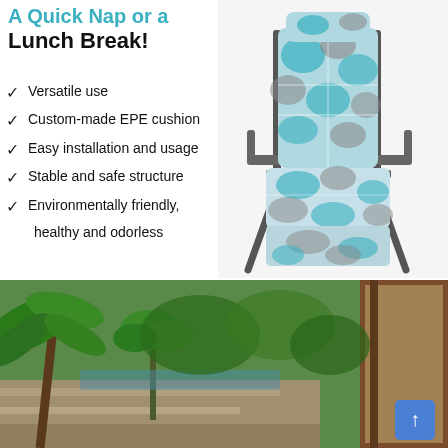Lunch Break!
Versatile use
Custom-made EPE cushion
Easy installation and usage
Stable and safe structure
Environmentally friendly, healthy and odorless
[Figure (photo): A reclining outdoor lounge chair with teal/blue floral patterned EPE cushion on grey metal frame]
[Figure (photo): Outdoor garden/patio scene with tropical plants, stone steps, and wooden structure in background]